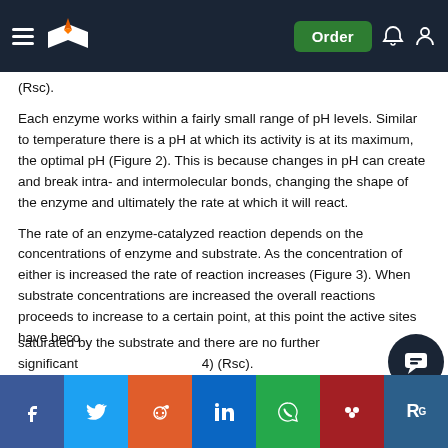Order
(Rsc).
Each enzyme works within a fairly small range of pH levels. Similar to temperature there is a pH at which its activity is at its maximum, the optimal pH (Figure 2). This is because changes in pH can create and break intra- and intermolecular bonds, changing the shape of the enzyme and ultimately the rate at which it will react.
The rate of an enzyme-catalyzed reaction depends on the concentrations of enzyme and substrate. As the concentration of either is increased the rate of reaction increases (Figure 3). When substrate concentrations are increased the overall reactions proceeds to increase to a certain point, at this point the active sites have become saturated by the substrate and there are no further significant increases in the rate of reaction (Figure 4) (Rsc).